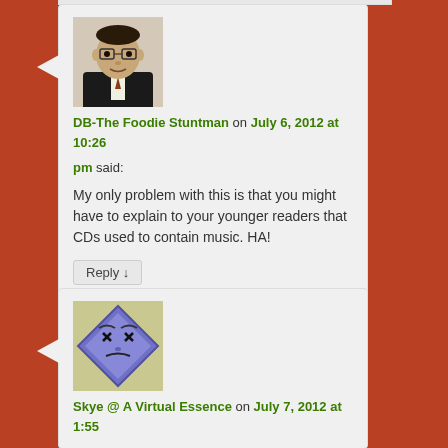[Figure (photo): Avatar photo of DB-The Foodie Stuntman — a man in a suit and glasses]
DB-The Foodie Stuntman on July 6, 2012 at 10:26 pm said:
My only problem with this is that you might have to explain to your younger readers that CDs used to contain music. HA!
Reply ↓
[Figure (illustration): Avatar illustration of Skye @ A Virtual Essence — a blue diamond shape with cartoon face]
Skye @ A Virtual Essence on July 7, 2012 at 1:55